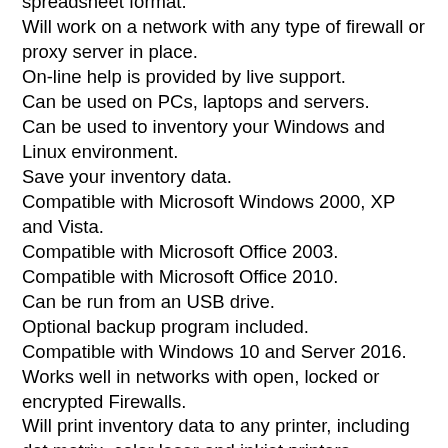spreadsheet format.
Will work on a network with any type of firewall or proxy server in place.
On-line help is provided by live support.
Can be used on PCs, laptops and servers.
Can be used to inventory your Windows and Linux environment.
Save your inventory data.
Compatible with Microsoft Windows 2000, XP and Vista.
Compatible with Microsoft Office 2003.
Compatible with Microsoft Office 2010.
Can be run from an USB drive.
Optional backup program included.
Compatible with Windows 10 and Server 2016.
Works well in networks with open, locked or encrypted Firewalls.
Will print inventory data to any printer, including dot matrix, color laser and inkjet printers.